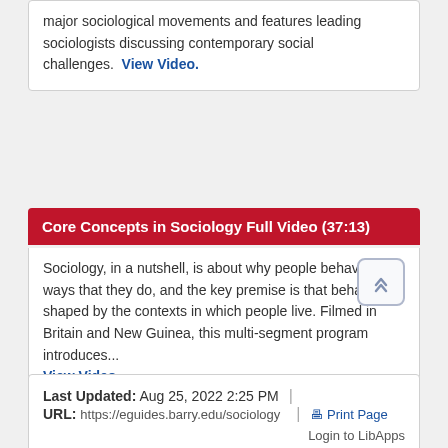major sociological movements and features leading sociologists discussing contemporary social challenges. View Video.
Core Concepts in Sociology Full Video (37:13)
Sociology, in a nutshell, is about why people behave in the ways that they do, and the key premise is that behavior is shaped by the contexts in which people live. Filmed in Britain and New Guinea, this multi-segment program introduces... View Video.
Last Updated: Aug 25, 2022 2:25 PM | URL: https://eguides.barry.edu/sociology | Print Page | Login to LibApps | Subjects: Criminology, Sociology